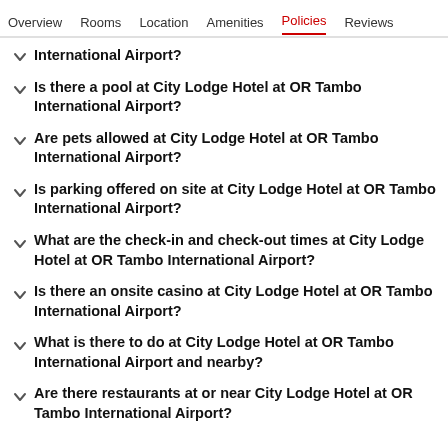Overview  Rooms  Location  Amenities  Policies  Reviews
International Airport?
Is there a pool at City Lodge Hotel at OR Tambo International Airport?
Are pets allowed at City Lodge Hotel at OR Tambo International Airport?
Is parking offered on site at City Lodge Hotel at OR Tambo International Airport?
What are the check-in and check-out times at City Lodge Hotel at OR Tambo International Airport?
Is there an onsite casino at City Lodge Hotel at OR Tambo International Airport?
What is there to do at City Lodge Hotel at OR Tambo International Airport and nearby?
Are there restaurants at or near City Lodge Hotel at OR Tambo International Airport?